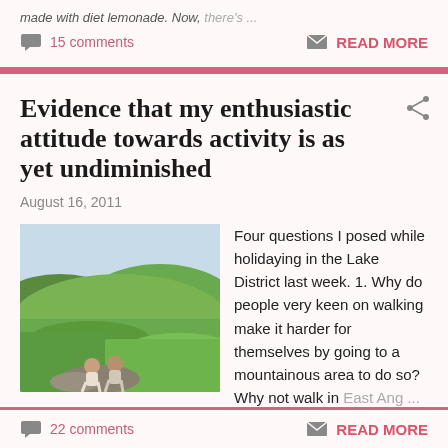made with diet lemonade. Now, there's ...
15 comments  READ MORE
Evidence that my enthusiastic attitude towards activity is as yet undiminished
August 16, 2011
[Figure (photo): Two people sitting on rocks overlooking a green hilly landscape, likely the Lake District]
Four questions I posed while holidaying in the Lake District last week. 1. Why do people very keen on walking make it harder for themselves by going to a mountainous area to do so?  Why not walk in East Ang ...
22 comments  READ MORE